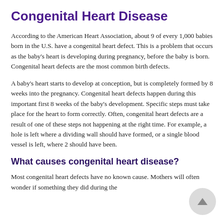Congenital Heart Disease
According to the American Heart Association, about 9 of every 1,000 babies born in the U.S. have a congenital heart defect. This is a problem that occurs as the baby's heart is developing during pregnancy, before the baby is born. Congenital heart defects are the most common birth defects.
A baby's heart starts to develop at conception, but is completely formed by 8 weeks into the pregnancy. Congenital heart defects happen during this important first 8 weeks of the baby's development. Specific steps must take place for the heart to form correctly. Often, congenital heart defects are a result of one of these steps not happening at the right time. For example, a hole is left where a dividing wall should have formed, or a single blood vessel is left, where 2 should have been.
What causes congenital heart disease?
Most congenital heart defects have no known cause. Mothers will often wonder if something they did during the